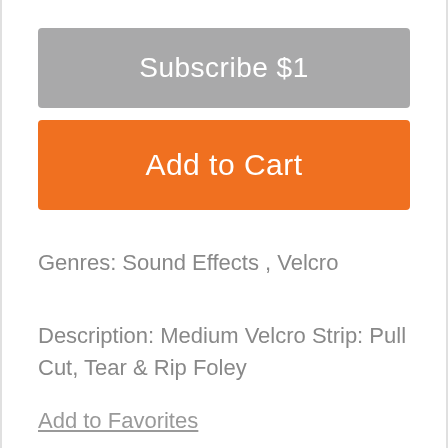Subscribe $1
Add to Cart
Genres: Sound Effects , Velcro
Description: Medium Velcro Strip: Pull Cut, Tear & Rip Foley
Add to Favorites